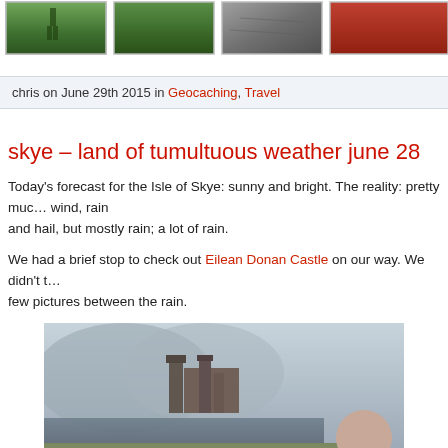[Figure (photo): Row of four thumbnail photos from a travel blog: green field with person, green grass/landscape, grey stone/road texture, and partial red/dark image cropped at right edge]
chris on June 29th 2015 in Geocaching, Travel
skye – land of tumultuous weather june 28
Today's forecast for the Isle of Skye: sunny and bright. The reality: pretty much wind, rain and hail, but mostly rain; a lot of rain.
We had a brief stop to check out Eilean Donan Castle on our way. We didn't t…few pictures between the rain.
[Figure (photo): Photo of Eilean Donan Castle in misty/rainy weather, with a stone bridge in the foreground and a woman smiling on the right, mountains and water in background]